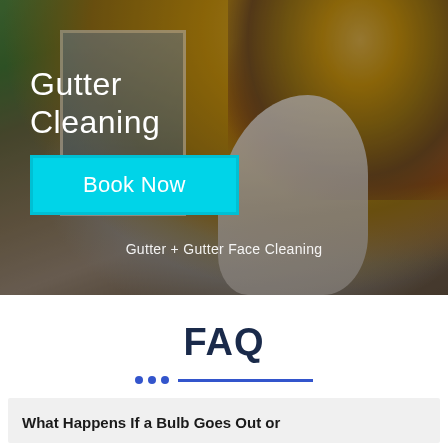[Figure (photo): A person wearing a white and striped glove cleaning leaves out of a gutter on a house, with autumn leaves visible and a white window in the background.]
Gutter Cleaning
Book Now
Gutter + Gutter Face Cleaning
FAQ
What Happens If a Bulb Goes Out or